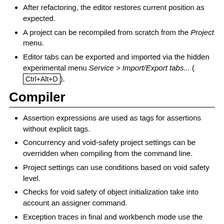After refactoring, the editor restores current position as expected.
A project can be recompiled from scratch from the Project menu.
Editor tabs can be exported and imported via the hidden experimental menu Service > Import/Export tabs... (Ctrl+Alt+D).
Compiler
Assertion expressions are used as tags for assertions without explicit tags.
Concurrency and void-safety project settings can be overridden when compiling from the command line.
Project settings can use conditions based on void safety level.
Checks for void safety of object initialization take into account an assigner command.
Exception traces in final and workbench mode use the